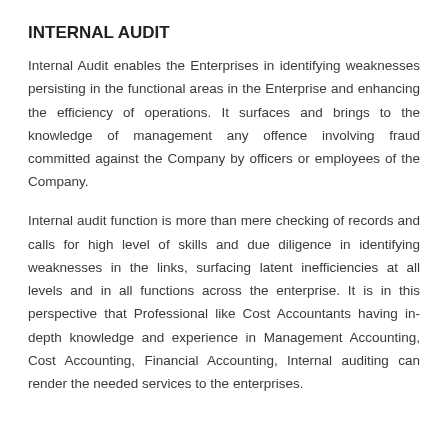INTERNAL AUDIT
Internal Audit enables the Enterprises in identifying weaknesses persisting in the functional areas in the Enterprise and enhancing the efficiency of operations. It surfaces and brings to the knowledge of management any offence involving fraud committed against the Company by officers or employees of the Company.
Internal audit function is more than mere checking of records and calls for high level of skills and due diligence in identifying weaknesses in the links, surfacing latent inefficiencies at all levels and in all functions across the enterprise. It is in this perspective that Professional like Cost Accountants having in-depth knowledge and experience in Management Accounting, Cost Accounting, Financial Accounting, Internal auditing can render the needed services to the enterprises.